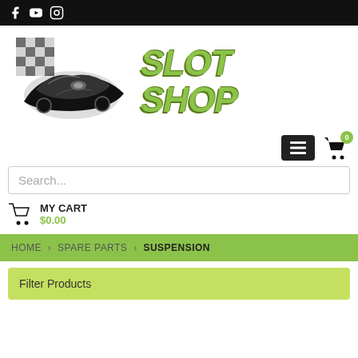Slot Shop - social media icons header bar
[Figure (logo): Slot Shop logo with racing car and checkered flag graphic on left, and bold green italic SLOT SHOP text on right]
[Figure (infographic): Navigation icons: hamburger menu button and shopping cart icon with green badge showing 0]
Search...
MY CART $0.00
HOME > SPARE PARTS > SUSPENSION
Filter Products